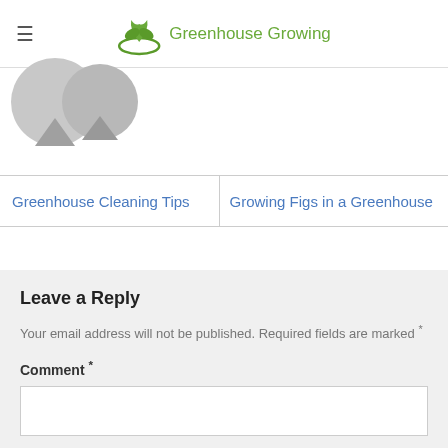Greenhouse Growing
[Figure (illustration): Two overlapping avatar/profile placeholder circles in gray]
Greenhouse Cleaning Tips
Growing Figs in a Greenhouse
Leave a Reply
Your email address will not be published. Required fields are marked *
Comment *